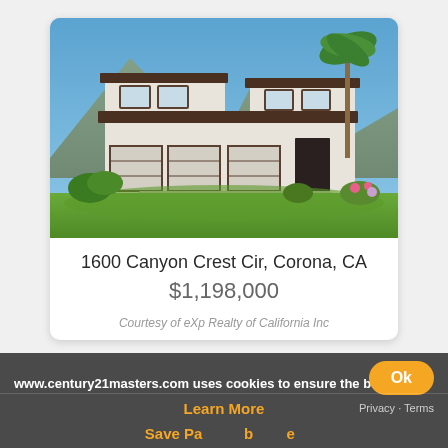[Figure (photo): Exterior photo of a two-story white stucco house with three-car garage, green lawn, palm trees, and mountain backdrop in Corona, CA]
1600 Canyon Crest Cir, Corona, CA
$1,198,000
Courtesy of eXp Realty of California Inc
www.century21masters.com uses cookies to ensure the bes
Learn More
Privacy - Terms